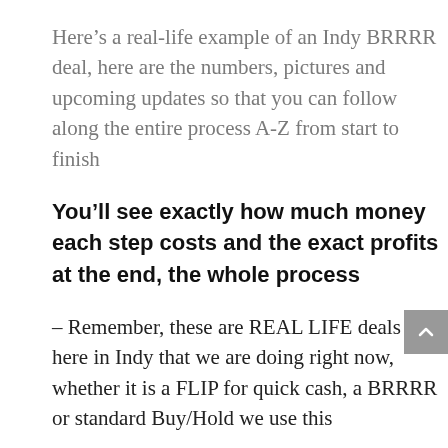Here's a real-life example of an Indy BRRRR deal, here are the numbers, pictures and upcoming updates so that you can follow along the entire process A-Z from start to finish
You'll see exactly how much money each step costs and the exact profits at the end, the whole process
– Remember, these are REAL LIFE deals here in Indy that we are doing right now, whether it is a FLIP for quick cash, a BRRRR or standard Buy/Hold we use this